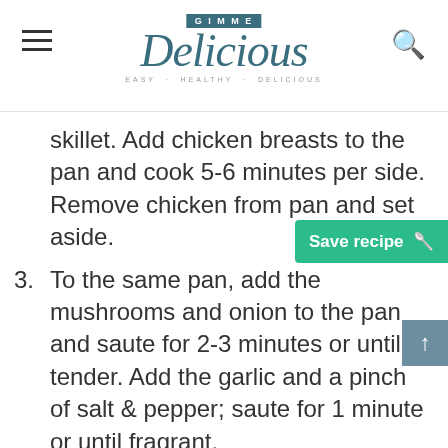Gimme Delicious — EASY · HEALTHY · DELICIOUS
skillet. Add chicken breasts to the pan and cook 5-6 minutes per side. Remove chicken from pan and set aside.
3. To the same pan, add the mushrooms and onion to the pan and saute for 2-3 minutes or until tender. Add the garlic and a pinch of salt & pepper; saute for 1 minute or until fragrant.
4. Reduce heat to low and Add the heavy cream, parmesan cheese, and herbs. Simmer for 1-2 minutes or until sauce begins to thicken. Taste and add more salt if needed.